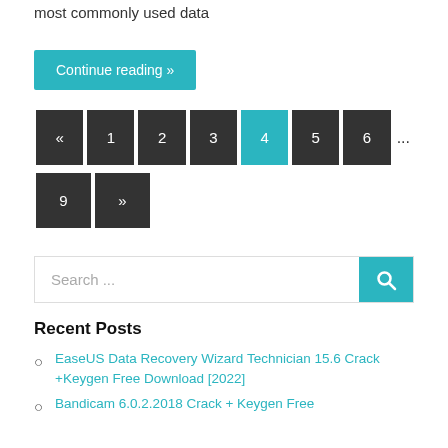most commonly used data
Continue reading »
« 1 2 3 4 5 6 ... 9 »
Search ...
Recent Posts
EaseUS Data Recovery Wizard Technician 15.6 Crack +Keygen Free Download [2022]
Bandicam 6.0.2.2018 Crack + Keygen Free